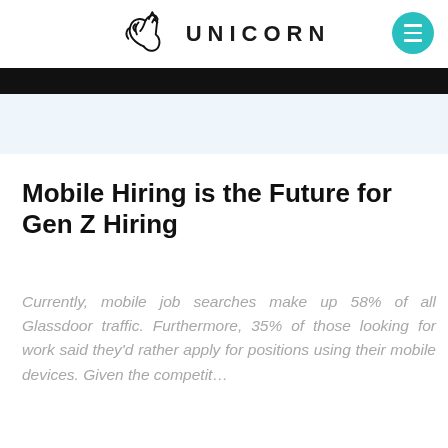UNICORN
Mobile Hiring is the Future for Gen Z Hiring
Currently, mobile job searches make up 58% of all Glassdoor traffic. Furthermore, 35% of those looking for work said they'd rather apply for positions using their mobile devices. Given the competit…